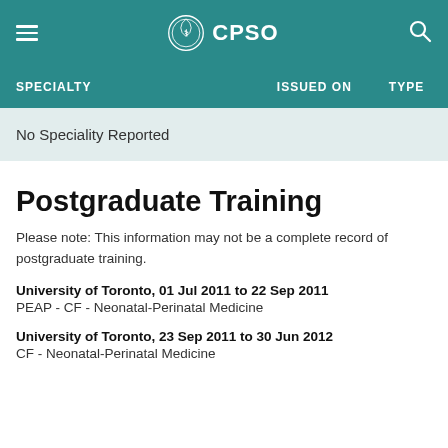CPSO
| SPECIALTY | ISSUED ON | TYPE |
| --- | --- | --- |
| No Speciality Reported |  |  |
Postgraduate Training
Please note: This information may not be a complete record of postgraduate training.
University of Toronto, 01 Jul 2011 to 22 Sep 2011
PEAP - CF - Neonatal-Perinatal Medicine
University of Toronto, 23 Sep 2011 to 30 Jun 2012
CF - Neonatal-Perinatal Medicine